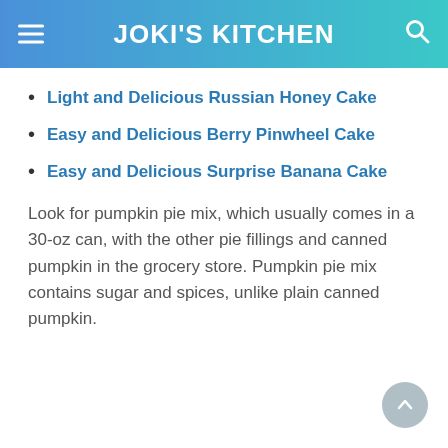JOKI'S KITCHEN
Light and Delicious Russian Honey Cake
Easy and Delicious Berry Pinwheel Cake
Easy and Delicious Surprise Banana Cake
Look for pumpkin pie mix, which usually comes in a 30-oz can, with the other pie fillings and canned pumpkin in the grocery store. Pumpkin pie mix contains sugar and spices, unlike plain canned pumpkin.